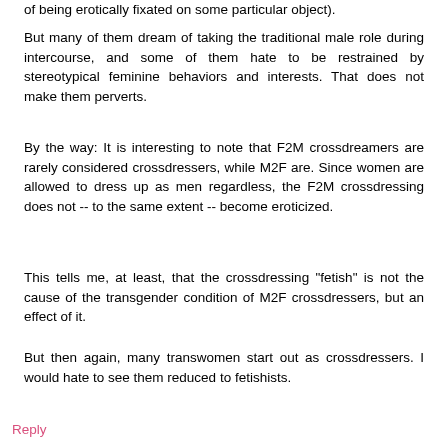of being erotically fixated on some particular object).
But many of them dream of taking the traditional male role during intercourse, and some of them hate to be restrained by stereotypical feminine behaviors and interests. That does not make them perverts.
By the way: It is interesting to note that F2M crossdreamers are rarely considered crossdressers, while M2F are. Since women are allowed to dress up as men regardless, the F2M crossdressing does not -- to the same extent -- become eroticized.
This tells me, at least, that the crossdressing "fetish" is not the cause of the transgender condition of M2F crossdressers, but an effect of it.
But then again, many transwomen start out as crossdressers. I would hate to see them reduced to fetishists.
Reply